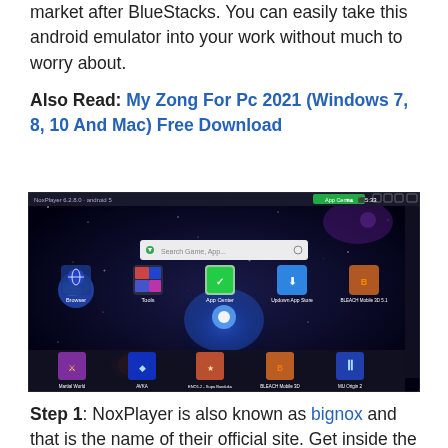market after BlueStacks. You can easily take this android emulator into your work without much to worry about.
Also Read: My Zong For Pc 2021 (Windows 7, 8, 10 And Mac) Free Download
[Figure (screenshot): Screenshot of NoxPlayer android emulator running on a PC, showing the home screen with a space-themed wallpaper, app icons including Browser, Tools, App Center, Updown App Store, and BLEACH Mobile 3D, and a search bar at the top.]
Step 1: NoxPlayer is also known as bignox and that is the name of their official site. Get inside the site and